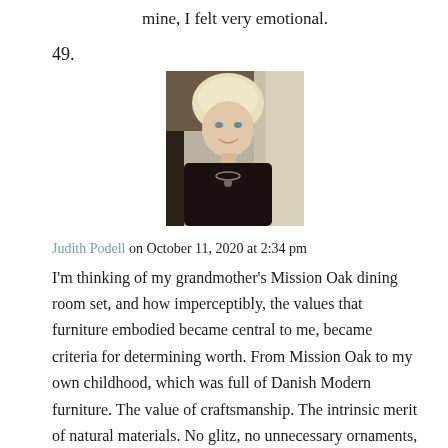mine, I felt very emotional.
49.
[Figure (photo): Portrait photo of a blonde woman wearing a dark sleeveless top with a necklace, smiling, with a light background]
Judith Podell on October 11, 2020 at 2:34 pm
I'm thinking of my grandmother's Mission Oak dining room set, and how imperceptibly, the values that furniture embodied became central to me, became criteria for determining worth. From Mission Oak to my own childhood, which was full of Danish Modern furniture. The value of craftsmanship. The intrinsic merit of natural materials. No glitz, no unnecessary ornaments, nothing fussy. Elegant in a practical way. This sounds, now I'm realizing, like being raised by two